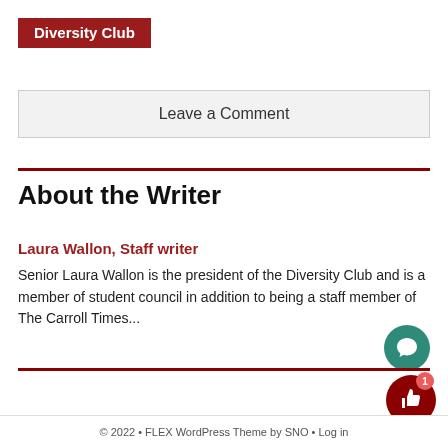Diversity Club
Leave a Comment
About the Writer
Laura Wallon, Staff writer
Senior Laura Wallon is the president of the Diversity Club and is a member of student council in addition to being a staff member of The Carroll Times...
© 2022 • FLEX WordPress Theme by SNO • Log in